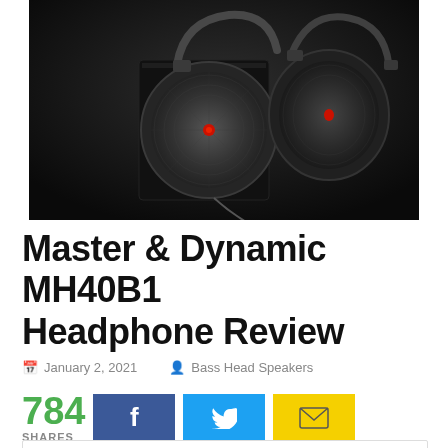[Figure (photo): Two Master & Dynamic MH40B1 over-ear headphones displayed on a dark background, one facing front and one at an angle, showing the mesh ear cups and metallic construction. A black box/stand is visible behind them.]
Master & Dynamic MH40B1 Headphone Review
January 2, 2021  Bass Head Speakers
784 SHARES